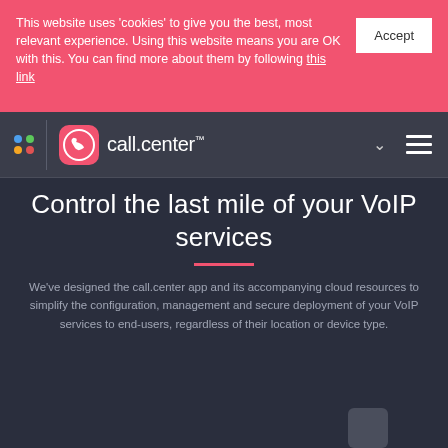This website uses 'cookies' to give you the best, most relevant experience. Using this website means you are OK with this. You can find more about them by following this link
[Figure (screenshot): call.center navigation bar with logo, dots, chevron, and hamburger menu on dark background]
Control the last mile of your VoIP services
We've designed the call.center app and its accompanying cloud resources to simplify the configuration, management and secure deployment of your VoIP services to end-users, regardless of their location or device type.